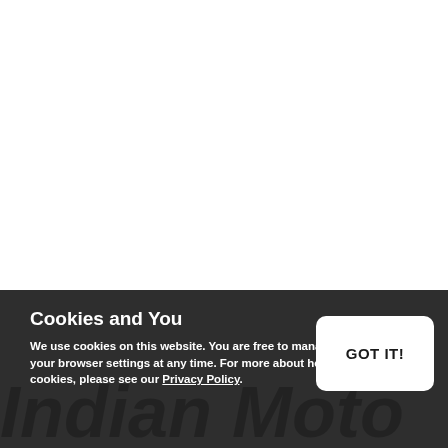[Figure (screenshot): White area representing the top portion of a webpage screenshot]
Cookies and You
We use cookies on this website. You are free to manage these via your browser settings at any time. For more about how we use cookies, please see our Privacy Policy.
GOT IT!
Indian Moto